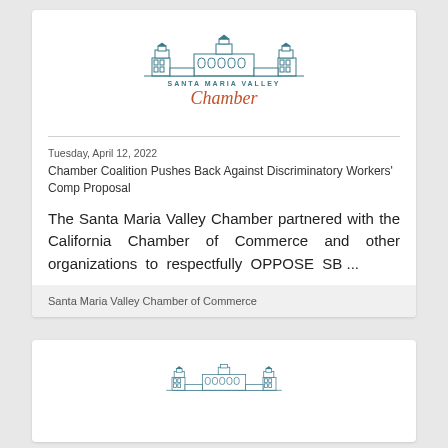[Figure (logo): Santa Maria Valley Chamber logo with building illustration and script text]
Tuesday, April 12, 2022
Chamber Coalition Pushes Back Against Discriminatory Workers' Comp Proposal
The Santa Maria Valley Chamber partnered with the California Chamber of Commerce and other organizations to respectfully OPPOSE SB ...
Santa Maria Valley Chamber of Commerce
[Figure (logo): Santa Maria Valley Chamber building illustration logo (partial, bottom card)]